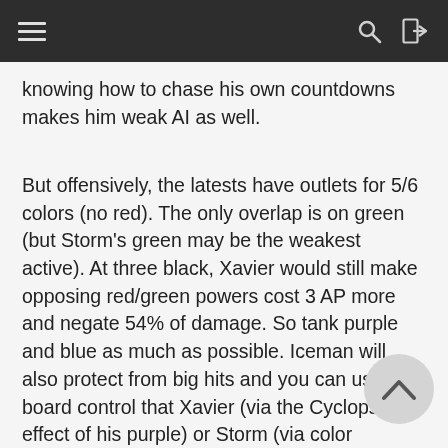knowing how to chase his own countdowns makes him weak AI as well.
But offensively, the latests have outlets for 5/6 colors (no red). The only overlap is on green (but Storm’s green may be the weakest active). At three black, Xavier would still make opposing red/green powers cost 3 AP more and negate 54% of damage. So tank purple and blue as much as possible. Iceman will also protect from big hits and you can use the board control that Xavier (via the Cyclops effect of his purple) or Storm (via color changing) provide to try and match it in a pinch.  Storm will create plenty of match-4s for Xavier and all three are capable of good AOE damage and random chaos. Storm can